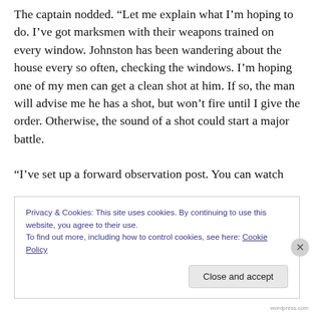The captain nodded. “Let me explain what I’m hoping to do. I’ve got marksmen with their weapons trained on every window. Johnston has been wandering about the house every so often, checking the windows. I’m hoping one of my men can get a clean shot at him. If so, the man will advise me he has a shot, but won’t fire until I give the order. Otherwise, the sound of a shot could start a major battle.

“I’ve set up a forward observation post. You can watch
Privacy & Cookies: This site uses cookies. By continuing to use this website, you agree to their use.
To find out more, including how to control cookies, see here: Cookie Policy
wordpress.com